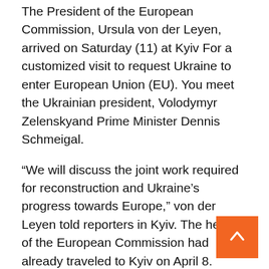The President of the European Commission, Ursula von der Leyen, arrived on Saturday (11) at Kyiv For a customized visit to request Ukraine to enter European Union (EU). You meet the Ukrainian president, Volodymyr Zelenskyand Prime Minister Dennis Schmeigal.
“We will discuss the joint work required for reconstruction and Ukraine’s progress towards Europe,” von der Leyen told reporters in Kyiv. The head of the European Commission had already traveled to Kyiv on April 8.